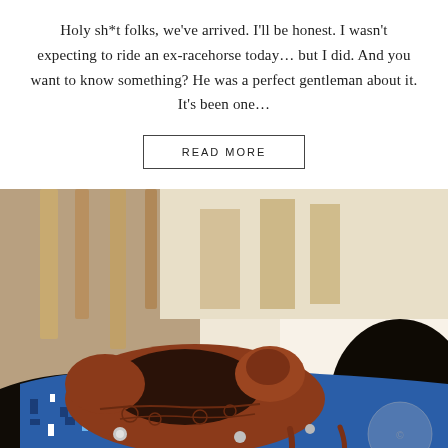Holy sh*t folks, we've arrived. I'll be honest. I wasn't expecting to ride an ex-racehorse today… but I did. And you want to know something? He was a perfect gentleman about it. It's been one…
READ MORE
[Figure (photo): Close-up photo of a western saddle on a dark horse's back. The saddle is brown leather with ornate tooling. A blue and white Aztec-patterned saddle blanket is visible beneath it. The background shows a bright barn interior with wooden stall rails.]